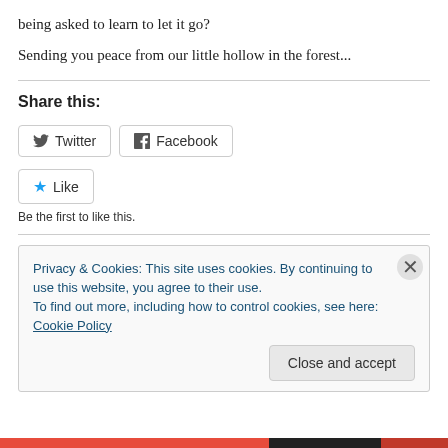being asked to learn to let it go?
Sending you peace from our little hollow in the forest...
Share this:
[Figure (other): Twitter and Facebook social share buttons]
[Figure (other): Like button with star icon]
Be the first to like this.
Privacy & Cookies: This site uses cookies. By continuing to use this website, you agree to their use. To find out more, including how to control cookies, see here: Cookie Policy